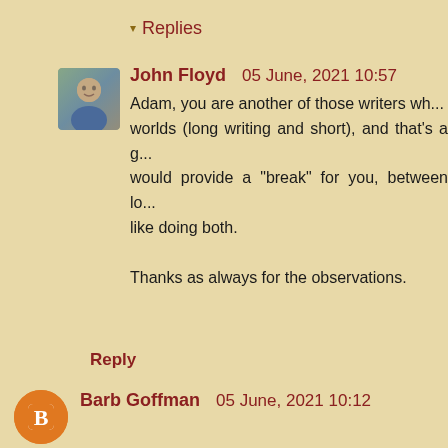▾ Replies
John Floyd   05 June, 2021 10:57
Adam, you are another of those writers wh... worlds (long writing and short), and that's a g... would provide a "break" for you, between lo... like doing both.

Thanks as always for the observations.
Reply
Barb Goffman   05 June, 2021 10:12
Hi, John. Thanks for mentioning me. I love writin... personality well. I like the faster pace than someone... in. When I was in college I knew I wanted to work in... So I interned for a summer at a monthly magazine...